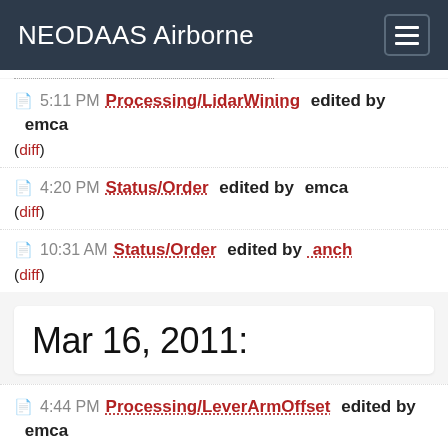NEODAAS Airborne
5:11 PM Processing/LidarWining edited by emca (diff)
4:20 PM Status/Order edited by emca (diff)
10:31 AM Status/Order edited by anch (diff)
Mar 16, 2011:
4:44 PM Processing/LeverArmOffset edited by emca (diff)
1:09 PM Processing/LeverArmOffset edited by emca